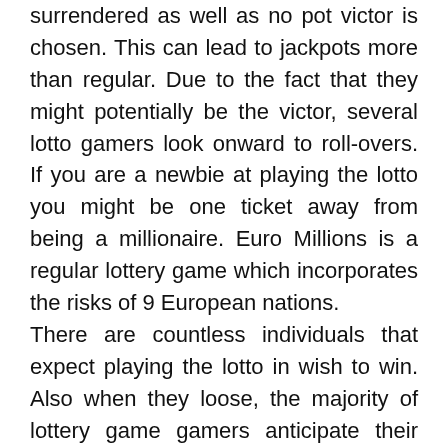surrendered as well as no pot victor is chosen. This can lead to jackpots more than regular. Due to the fact that they might potentially be the victor, several lotto gamers look onward to roll-overs. If you are a newbie at playing the lotto you might be one ticket away from being a millionaire. Euro Millions is a regular lottery game which incorporates the risks of 9 European nations. There are countless individuals that expect playing the lotto in wish to win. Also when they loose, the majority of lottery game gamers anticipate their following play. Unlike many video games, the lotto game is most definitely not a trend and also will certainly greater than most likely be around for years ahead. When playing the lottery game there is a